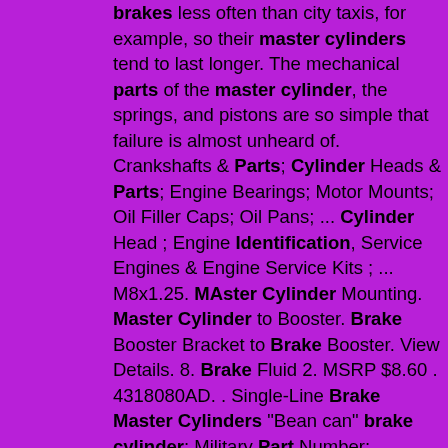brakes less often than city taxis, for example, so their master cylinders tend to last longer. The mechanical parts of the master cylinder, the springs, and pistons are so simple that failure is almost unheard of. Crankshafts & Parts; Cylinder Heads & Parts; Engine Bearings; Motor Mounts; Oil Filler Caps; Oil Pans; ... Cylinder Head ; Engine Identification, Service Engines & Engine Service Kits ; ... M8x1.25. MAster Cylinder Mounting. Master Cylinder to Booster. Brake Booster Bracket to Brake Booster. View Details. 8. Brake Fluid 2. MSRP $8.60 . 4318080AD. . Single-Line Brake Master Cylinders "Bean can" brake cylinder: Military Part Number: 7411070 Military Description: CYLINDER ASSEMBLY,MASTER. National Stock Number (NSN): 2530-00-741-1070, 2530007411070 Federal Supply Class (FSC): 2530 (Vehicular Brake , Steering, Axle, Wheel and Track Components-10) National Item Identification Number (NIIN. Brake master cylinder parts: The brake master cylinder consists of the following parts:-1] Reservoir: The reservoir is used to hold the brake fluid. It has a filler cap with an air vent and has two ports at the bottom A larger port among them is known as an intake port which feeds the oil into the compression chamber (cylinder) and a smaller port is known as a compensating port. kayak rentals hampton beach nhbank vault lockhow many miles will a mercedes